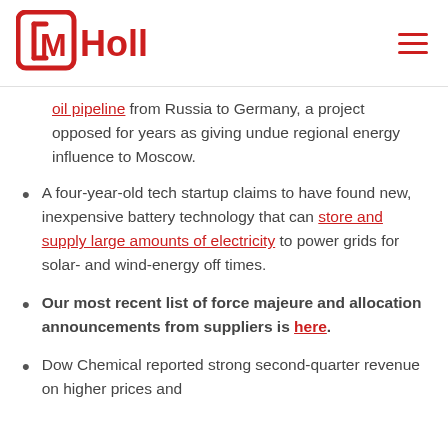[Figure (logo): MHolland logo in red with square bracket bracket M icon]
oil pipeline from Russia to Germany, a project opposed for years as giving undue regional energy influence to Moscow.
A four-year-old tech startup claims to have found new, inexpensive battery technology that can store and supply large amounts of electricity to power grids for solar- and wind-energy off times.
Our most recent list of force majeure and allocation announcements from suppliers is here.
Dow Chemical reported strong second-quarter revenue on higher prices and